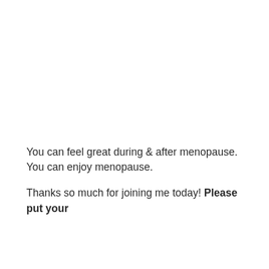You can feel great during & after menopause. You can enjoy menopause.
Thanks so much for joining me today! Please put your